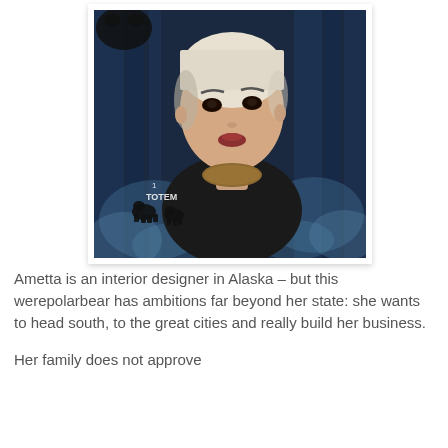[Figure (photo): A young woman with short platinum blonde hair wearing a black dress and decorative necklace, photographed against a dark blue forest background with stylized frost/leaves. In the lower left corner there is text reading '1 TOTEM' with bear silhouettes.]
Ametta is an interior designer in Alaska – but this werepolarbear has ambitions far beyond her state: she wants to head south, to the great cities and really build her business.
Her family does not approve